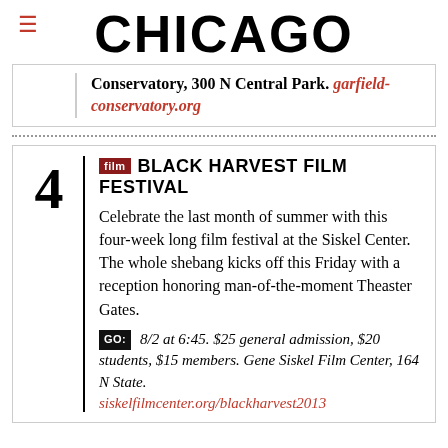CHICAGO
Conservatory, 300 N Central Park. garfield-conservatory.org
4 | film BLACK HARVEST FILM FESTIVAL
Celebrate the last month of summer with this four-week long film festival at the Siskel Center. The whole shebang kicks off this Friday with a reception honoring man-of-the-moment Theaster Gates.
GO: 8/2 at 6:45. $25 general admission, $20 students, $15 members. Gene Siskel Film Center, 164 N State.
siskelfilmcenter.org/blackharvest2013